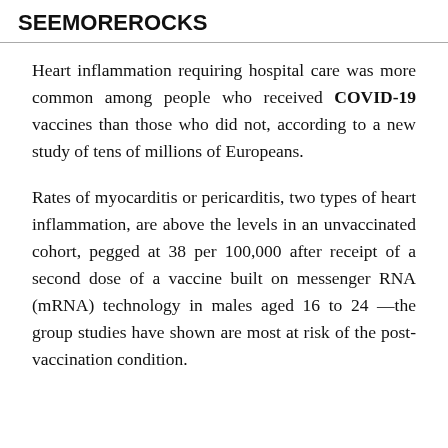SEEMOREROCKS
Heart inflammation requiring hospital care was more common among people who received COVID-19 vaccines than those who did not, according to a new study of tens of millions of Europeans.
Rates of myocarditis or pericarditis, two types of heart inflammation, are above the levels in an unvaccinated cohort, pegged at 38 per 100,000 after receipt of a second dose of a vaccine built on messenger RNA (mRNA) technology in males aged 16 to 24 —the group studies have shown are most at risk of the post-vaccination condition.